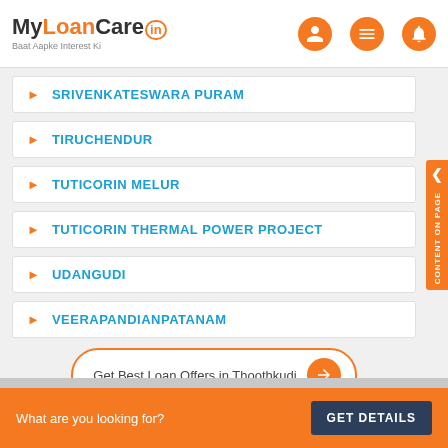MyLoanCare.in - Baat Aapke Interest Ki
SRIVENKATESWARA PURAM
TIRUCHENDUR
TUTICORIN MELUR
TUTICORIN THERMAL POWER PROJECT
UDANGUDI
VEERAPANDIANPATANAM
Get Best Loan Offers in Thoothkudi
What are you looking for? GET DETAILS